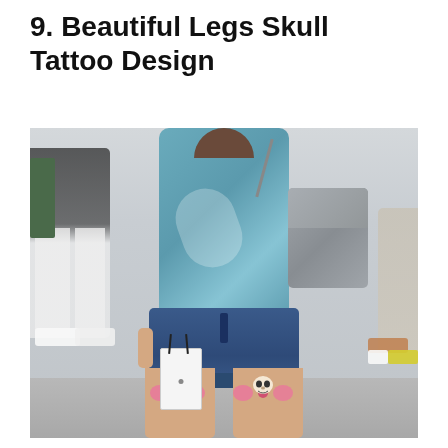9. Beautiful Legs Skull Tattoo Design
[Figure (photo): Photograph of a woman from behind walking on a street, wearing a blue top, denim shorts, and carrying a grey handbag. She has skull and bow tattoos on the backs of both thighs. Another person in black shirt and white shorts is visible in the background.]